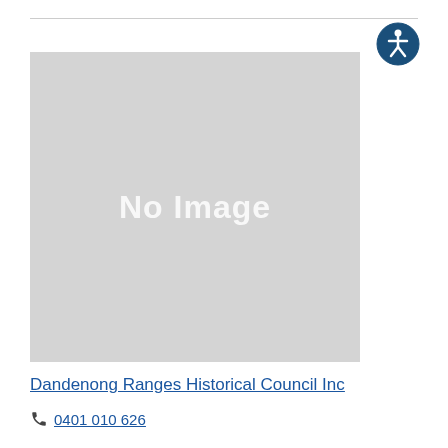[Figure (other): Accessibility icon — circular dark blue badge with a white stylized person (wheelchair accessibility symbol)]
[Figure (photo): Gray placeholder box with white bold text reading 'No Image']
Dandenong Ranges Historical Council Inc
0401 010 626